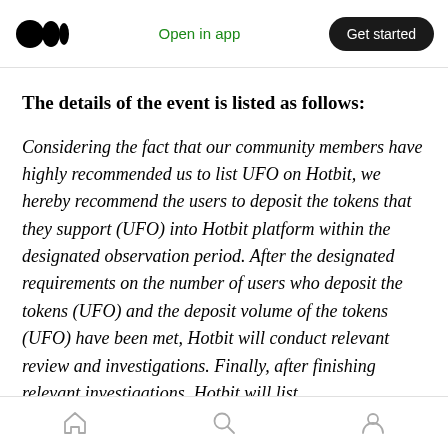Open in app | Get started
The details of the event is listed as follows:
Considering the fact that our community members have highly recommended us to list UFO on Hotbit, we hereby recommend the users to deposit the tokens that they support (UFO) into Hotbit platform within the designated observation period. After the designated requirements on the number of users who deposit the tokens (UFO) and the deposit volume of the tokens (UFO) have been met, Hotbit will conduct relevant review and investigations. Finally, after finishing relevant investigations, Hotbit will list...
Home | Search | Profile